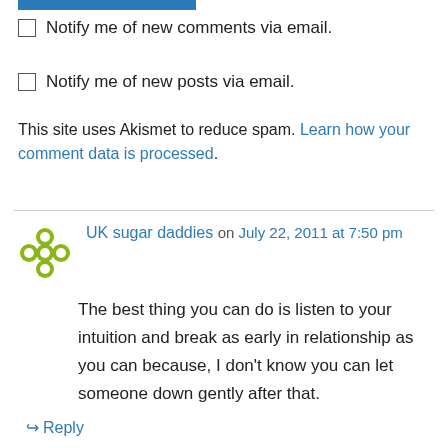Notify me of new comments via email.
Notify me of new posts via email.
This site uses Akismet to reduce spam. Learn how your comment data is processed.
UK sugar daddies on July 22, 2011 at 7:50 pm
The best thing you can do is listen to your intuition and break as early in relationship as you can because, I don’t know you can let someone down gently after that.
Reply